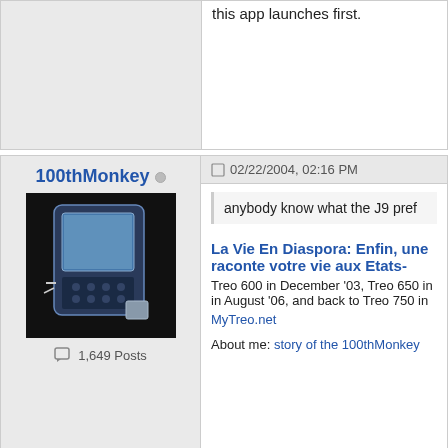this app launches first.
100thMonkey
[Figure (photo): Avatar image showing a Treo smartphone device on dark background]
1,649 Posts
02/22/2004, 02:16 PM
anybody know what the J9 pref
La Vie En Diaspora: Enfin, une raconte votre vie aux Etats-
Treo 600 in December '03, Treo 650 in in August '06, and back to Treo 750 in
MyTreo.net
About me: story of the 100thMonkey
treobone
02/22/2004, 02:21 PM
Originally posted by 100t